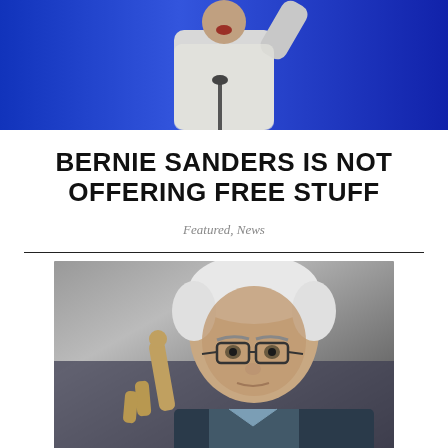[Figure (photo): A person at a podium speaking, arms raised, against a blue background — appears to be a political rally or debate scene.]
BERNIE SANDERS IS NOT OFFERING FREE STUFF
Featured, News
[Figure (photo): Close-up photo of an elderly man with white hair and glasses, pointing finger upward, appearing to be Bernie Sanders.]
There are moments where the simplicity of a fact